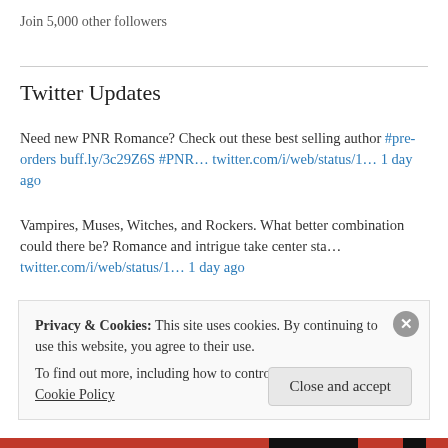Join 5,000 other followers
Twitter Updates
Need new PNR Romance? Check out these best selling author #pre-orders buff.ly/3c29Z6S #PNR… twitter.com/i/web/status/1… 1 day ago
Vampires, Muses, Witches, and Rockers. What better combination could there be? Romance and intrigue take center sta… twitter.com/i/web/status/1… 1 day ago
Their music is tuned to the supernatural #mmromance #paranormalromance #vampireromance #RockstarRomance
Privacy & Cookies: This site uses cookies. By continuing to use this website, you agree to their use.
To find out more, including how to control cookies, see here: Cookie Policy
Close and accept